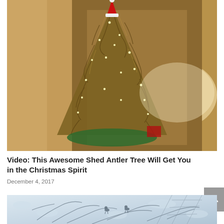[Figure (photo): A Christmas tree made entirely of shed antlers stacked in a cone shape, decorated with lights and topped with a Santa hat, photographed indoors with blurred background.]
Video: This Awesome Shed Antler Tree Will Get You in the Christmas Spirit
December 4, 2017
[Figure (photo): Aerial or overhead view of animal tracks and shadows in snow, showing a group of animals (possibly deer or elk) crossing a snowy field, with fence lines visible.]